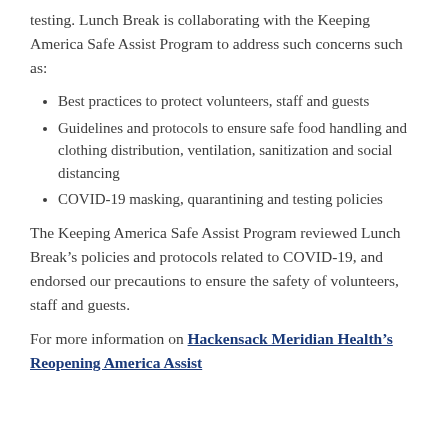testing. Lunch Break is collaborating with the Keeping America Safe Assist Program to address such concerns such as:
Best practices to protect volunteers, staff and guests
Guidelines and protocols to ensure safe food handling and clothing distribution, ventilation, sanitization and social distancing
COVID-19 masking, quarantining and testing policies
The Keeping America Safe Assist Program reviewed Lunch Break’s policies and protocols related to COVID-19, and endorsed our precautions to ensure the safety of volunteers, staff and guests.
For more information on Hackensack Meridian Health’s Reopening America Assist